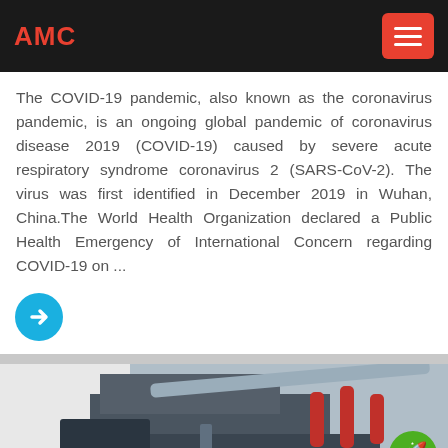AMC
The COVID-19 pandemic, also known as the coronavirus pandemic, is an ongoing global pandemic of coronavirus disease 2019 (COVID-19) caused by severe acute respiratory syndrome coronavirus 2 (SARS-CoV-2). The virus was first identified in December 2019 in Wuhan, China.The World Health Organization declared a Public Health Emergency of International Concern regarding COVID-19 on ...
[Figure (illustration): Circular blue arrow/read-more button]
[Figure (photo): Industrial machinery photo showing equipment with red handles in a workshop setting]
email   onlineChat   message